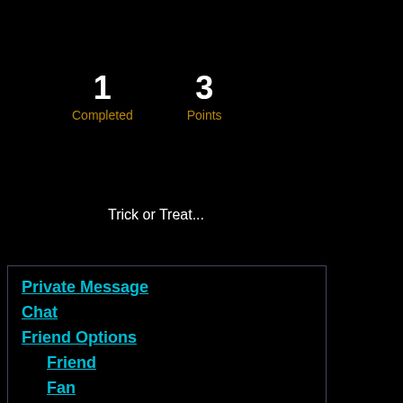1 Completed
3 Points
Trick or Treat...
Private Message
Chat
Friend Options
Friend
Fan
Flirt Options
Crush
Secretly Admire
Propose fuMarriage
Poke
Send Drink
Send Bling
Buy Gifts
Clear Profile Rate Lock
Close Profile Like Lock